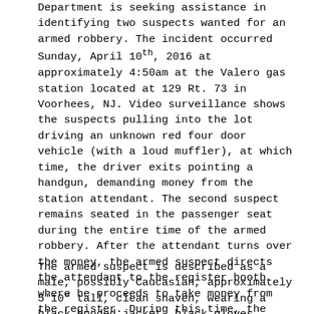Department is seeking assistance in identifying two suspects wanted for an armed robbery. The incident occurred Sunday, April 10th, 2016 at approximately 4:50am at the Valero gas station located at 129 Rt. 73 in Voorhees, NJ. Video surveillance shows the suspects pulling into the lot driving an unknown red four door vehicle (with a loud muffler), at which time, the driver exits pointing a handgun, demanding money from the station attendant. The second suspect remains seated in the passenger seat during the entire time of the armed robbery. After the attendant turns over the money, the armed suspect directs the attendant to the register booth where he proceeds to take money from the register. During this time, the suspect is seen striking the attendant's head with his handgun. The suspect is then seen returning to his vehicle, fleeing S/B on State Highway Rt. 73.
The armed suspect is described as a male, possibly Caucasian, approximately 5'10" tall, clean shaven, wearing a black hooded jacket, black gloves, black Nike pants, and